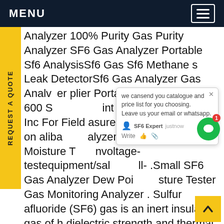MENU
Analyzer 100% Purity Gas Purity Analyzer SF6 Gas Analyzer Portable Sf6 AnalysisSf6 Gas Sf6 Methane s Leak DetectorSf6 Gas Analyzer Gas Analyzer plier Portable Flue Sf6 Sfd-600 S... int s Analyzer Sensors Inc For Field asurementsSee a full list on aliba... alyzer Dew Point Meter Moisture T... nvoltage-testequipment/sal... 2... all- .Small SF6 Gas Analyzer Dew Poi... sture Tester Gas Monitoring Analyzer . Sulfur afluoride (SF6) gas is an inert insulating gas of h dielectric strength and thermal stability, often used in the power sector for insulating high voltage lines, circuit breakers, transformers and other switchgear equipments.Get price
[Figure (screenshot): Chat popup overlay showing: 'we cansend you catalogue and price list for you choosing. Leave us your email or whatsapp.' with SF6 Expert chat agent showing 'justnow', Write input with thumbs up and attachment icons. Green circular chat icon with notification badge showing 1.]
[Figure (other): Yellow scroll-to-top button with upward chevron arrow in bottom right corner]